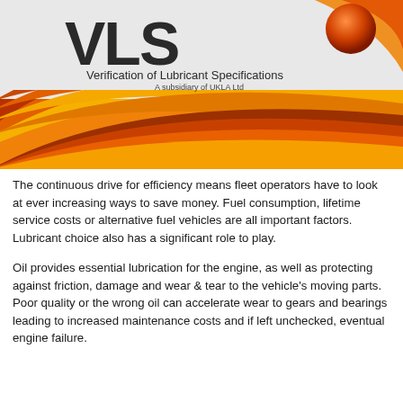[Figure (logo): VLS logo with 'Verification of Lubricant Specifications - A subsidiary of UKLA Ltd' text, set against a decorative swooping background of orange, yellow, golden, and dark red/brown arcs.]
The continuous drive for efficiency means fleet operators have to look at ever increasing ways to save money.  Fuel consumption, lifetime service costs or alternative fuel vehicles are all important factors.  Lubricant choice also has a significant role to play.
Oil provides essential lubrication for the engine, as well as protecting against friction, damage and wear & tear to the vehicle's moving parts. Poor quality or the wrong oil can accelerate wear to gears and bearings leading to increased maintenance costs and if left unchecked, eventual engine failure.